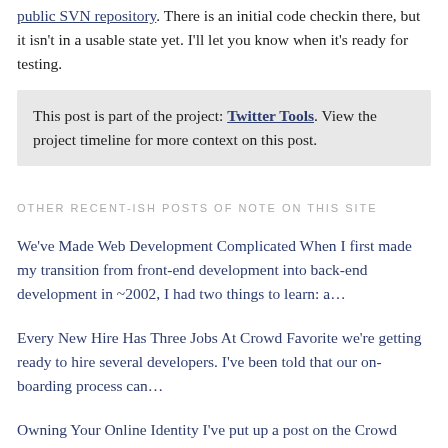public SVN repository. There is an initial code checkin there, but it isn't in a usable state yet. I'll let you know when it's ready for testing.
This post is part of the project: Twitter Tools. View the project timeline for more context on this post.
OTHER RECENT-ISH POSTS OF NOTE ON THIS SITE
We've Made Web Development Complicated When I first made my transition from front-end development into back-end development in ~2002, I had two things to learn: a…
Every New Hire Has Three Jobs At Crowd Favorite we're getting ready to hire several developers. I've been told that our on-boarding process can…
Owning Your Online Identity I've put up a post on the Crowd Favorite blog about how I use WordPress…